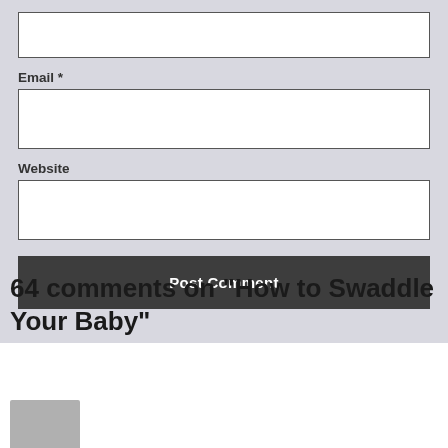Email *
Website
Post Comment
64 comments on “How to Swaddle Your Baby”